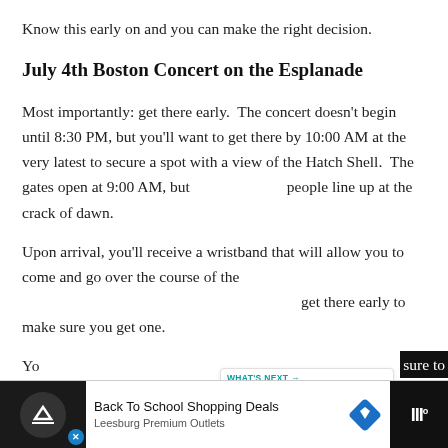Know this early on and you can make the right decision.
July 4th Boston Concert on the Esplanade
Most importantly: get there early.  The concert doesn't begin until 8:30 PM, but you'll want to get there by 10:00 AM at the very latest to secure a spot with a view of the Hatch Shell.  The gates open at 9:00 AM, but people line up at the crack of dawn.
Upon arrival, you'll receive a wristband that will allow you to come and go over the course of the day. So get there early to make sure you get one.
Yo...sure to
[Figure (other): Website UI overlay: heart/like button (teal circle), count badge showing 3, share button, and a What's Next panel showing Boston Rooftop Poo... with a thumbnail image]
[Figure (other): Advertisement bar at the bottom: Back To School Shopping Deals - Leesburg Premium Outlets, with ad icons and logos]